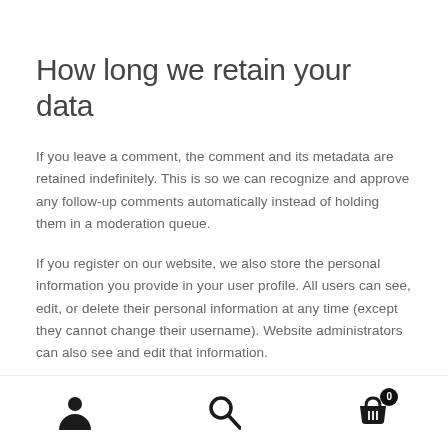How long we retain your data
If you leave a comment, the comment and its metadata are retained indefinitely. This is so we can recognize and approve any follow-up comments automatically instead of holding them in a moderation queue.
If you register on our website, we also store the personal information you provide in your user profile. All users can see, edit, or delete their personal information at any time (except they cannot change their username). Website administrators can also see and edit that information.
[Figure (other): Bottom navigation bar with three icons: user/person icon, search magnifier icon, and shopping cart icon with badge showing 0]